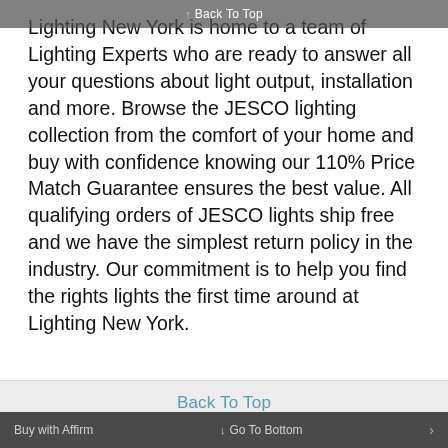↑ Back To Top
Lighting New York is home to a team of Lighting Experts who are ready to answer all your questions about light output, installation and more. Browse the JESCO lighting collection from the comfort of your home and buy with confidence knowing our 110% Price Match Guarantee ensures the best value. All qualifying orders of JESCO lights ship free and we have the simplest return policy in the industry. Our commitment is to help you find the rights lights the first time around at Lighting New York.
Back To Top
Home
Policies
Privacy Policy
California Privacy Disclosures
Buy with Affirm  ↓ Go To Bottom